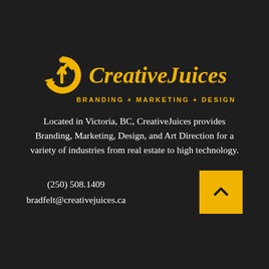[Figure (logo): Creative Juices logo: yellow circular droplet/arrow icon with text 'CreativeJuices' in yellow italic serif font and tagline 'BRANDING + MARKETING + DESIGN' in yellow bold uppercase sans-serif]
Located in Victoria, BC, CreativeJuices provides Branding, Marketing, Design, and Art Direction for a variety of industries from real estate to high technology.
(250) 508.1409
bradfelt@creativejuices.ca